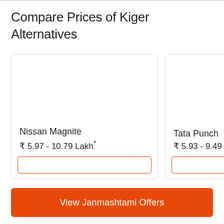Compare Prices of Kiger Alternatives
Nissan Magnite
₹ 5.97 - 10.79 Lakh*
Tata Punch
₹ 5.93 - 9.49 L
View Janmashtami Offers